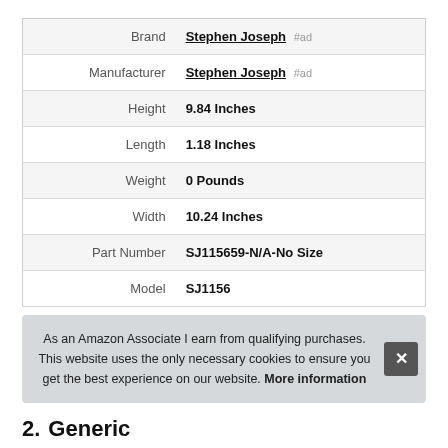| Attribute | Value |
| --- | --- |
| Brand | Stephen Joseph #ad |
| Manufacturer | Stephen Joseph #ad |
| Height | 9.84 Inches |
| Length | 1.18 Inches |
| Weight | 0 Pounds |
| Width | 10.24 Inches |
| Part Number | SJ115659-N/A-No Size |
| Model | SJ1156 |
As an Amazon Associate I earn from qualifying purchases. This website uses the only necessary cookies to ensure you get the best experience on our website. More information
2. Generic